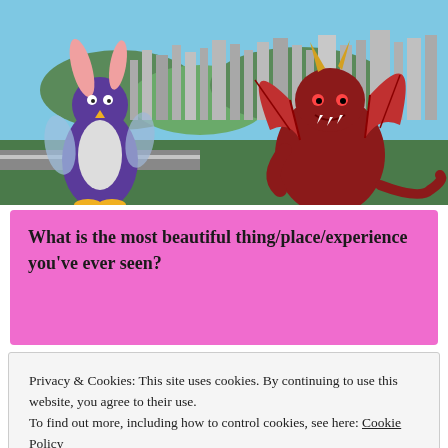[Figure (screenshot): Screenshot of a city-building video game (Cities: Skylines style) with cartoon monster characters overlaid — a large purple penguin-like creature with pink ears and a red dragon-like monster — towering over a city skyline.]
What is the most beautiful thing/place/experience you've ever seen?
Privacy & Cookies: This site uses cookies. By continuing to use this website, you agree to their use.
To find out more, including how to control cookies, see here: Cookie Policy